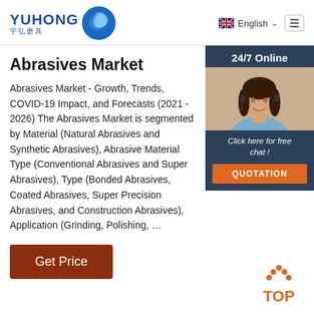YUHONG 宇弘磨具 — English
Abrasives Market
Abrasives Market - Growth, Trends, COVID-19 Impact, and Forecasts (2021 - 2026) The Abrasives Market is segmented by Material (Natural Abrasives and Synthetic Abrasives), Abrasive Material Type (Conventional Abrasives and Super Abrasives), Type (Bonded Abrasives, Coated Abrasives, Super Precision Abrasives, and Construction Abrasives), Application (Grinding, Polishing, …
[Figure (photo): Customer service representative wearing headset, smiling. Overlay shows '24/7 Online', 'Click here for free chat!', and an orange QUOTATION button.]
[Figure (other): Orange 'TOP' button with upward arrow dots icon]